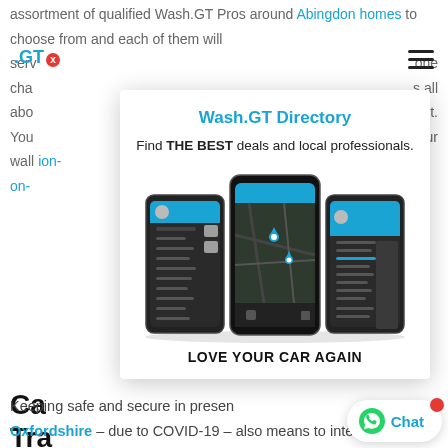assortment of qualified Wash.GT Pros around Abingdon homes to choose from and each of them will serve one charge about lget. You your wallet ion- on-
[Figure (screenshot): Wash.GT app logo top-left with blue .GT text and red X badge]
[Figure (screenshot): Hamburger menu icon top-right]
[Figure (screenshot): Wash.GT Directory modal popup showing three smartphone screens with the app interface displayed including a map view and menu screens. Title reads 'Wash.GT Directory', subtitle 'Find THE BEST deals and local professionals.', tagline 'LOVE YOUR CAR AGAIN']
Ca Tra Th
Keeping safe and secure in present Oxfordshire – due to COVID-19 – also means to interact
[Figure (screenshot): Chat button with WhatsApp-style icon and 'Chat' text, with red notification dot]